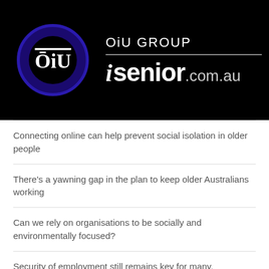[Figure (logo): OiU GROUP logo with circular emblem and isenior.com.au brand name on black background]
Connecting online can help prevent social isolation in older people
There’s a yawning gap in the plan to keep older Australians working
Can we rely on organisations to be socially and environmentally focused?
Security of employment still remains key for many.